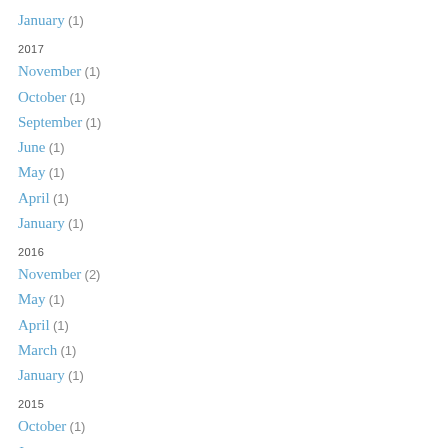January (1)
2017
November (1)
October (1)
September (1)
June (1)
May (1)
April (1)
January (1)
2016
November (2)
May (1)
April (1)
March (1)
January (1)
2015
October (1)
June (1)